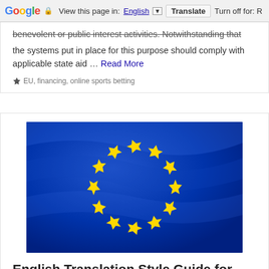Google  View this page in: English [▼]  Translate  Turn off for: R
benevolent or public interest activities. Notwithstanding that the systems put in place for this purpose should comply with applicable state aid … Read More
▶EU, financing, online sports betting
[Figure (photo): European Union flag waving — blue background with 12 golden stars arranged in a circle]
English Translation Style Guide for